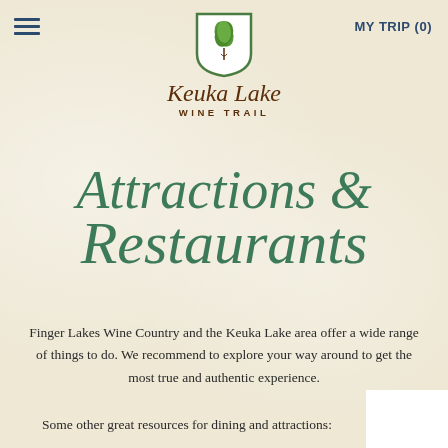≡   MY TRIP (0)
[Figure (logo): Keuka Lake Wine Trail logo: green leaf shield icon above cursive 'Keuka Lake' script with 'WINE TRAIL' text beneath]
Attractions & Restaurants
Finger Lakes Wine Country and the Keuka Lake area offer a wide range of things to do. We recommend to explore your way around to get the most true and authentic experience.
Some other great resources for dining and attractions: